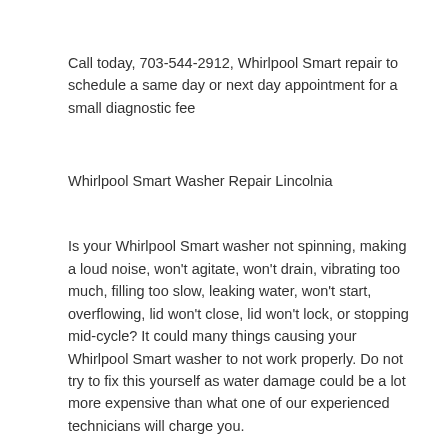Call today, 703-544-2912, Whirlpool Smart repair to schedule a same day or next day appointment for a small diagnostic fee
Whirlpool Smart Washer Repair Lincolnia
Is your Whirlpool Smart washer not spinning, making a loud noise, won't agitate, won't drain, vibrating too much, filling too slow, leaking water, won't start, overflowing, lid won't close, lid won't lock, or stopping mid-cycle? It could many things causing your Whirlpool Smart washer to not work properly. Do not try to fix this yourself as water damage could be a lot more expensive than what one of our experienced technicians will charge you.
Whirlpool Smart Dryer Repair Lincolnia